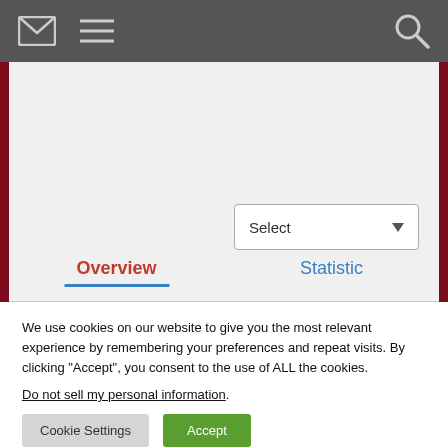[Header bar with envelope icon, menu icon, and search icon]
[Figure (screenshot): Website interface screenshot showing a light grey content area with a dark red left and right border, a 'Select' dropdown in the lower right, and two tabs: 'Overview' (active, red text, blue underline) and 'Statistic' (blue text).]
We use cookies on our website to give you the most relevant experience by remembering your preferences and repeat visits. By clicking “Accept”, you consent to the use of ALL the cookies.
Do not sell my personal information.
Cookie Settings   Accept